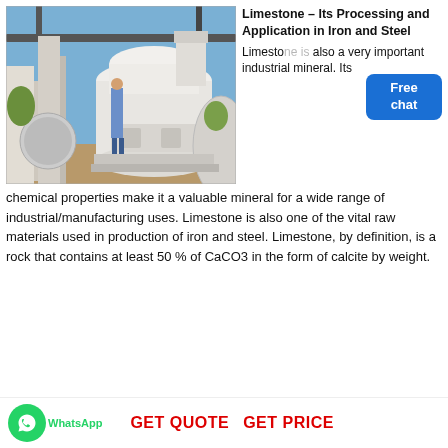[Figure (photo): Industrial limestone processing machine (mill/grinder) outdoors, with a worker in blue standing on a platform. Large white cylindrical grinding machine with attached machinery, metal structure roof, blue sky and trees in background.]
Limestone – Its Processing and Application in Iron and Steel
Limestone also a very important industrial mineral. Its chemical properties make it a valuable mineral for a wide range of industrial/manufacturing uses. Limestone is also one of the vital raw materials used in production of iron and steel. Limestone, by definition, is a rock that contains at least 50 % of CaCO3 in the form of calcite by weight.
[Figure (other): Free chat button overlay (blue rounded rectangle with white text 'Free chat') and a customer service representative avatar photo partially visible behind the title text.]
WhatsApp   GET QUOTE   GET PRICE